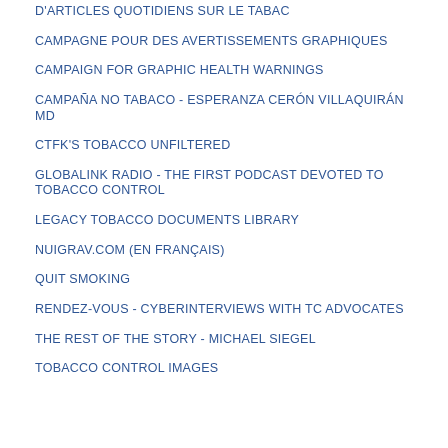D'ARTICLES QUOTIDIENS SUR LE TABAC
CAMPAGNE POUR DES AVERTISSEMENTS GRAPHIQUES
CAMPAIGN FOR GRAPHIC HEALTH WARNINGS
CAMPAÑA NO TABACO - ESPERANZA CERÓN VILLAQUIRÁN MD
CTFK'S TOBACCO UNFILTERED
GLOBALINK RADIO - THE FIRST PODCAST DEVOTED TO TOBACCO CONTROL
LEGACY TOBACCO DOCUMENTS LIBRARY
NUIGRAV.COM (EN FRANÇAIS)
QUIT SMOKING
RENDEZ-VOUS - CYBERINTERVIEWS WITH TC ADVOCATES
THE REST OF THE STORY - MICHAEL SIEGEL
TOBACCO CONTROL IMAGES